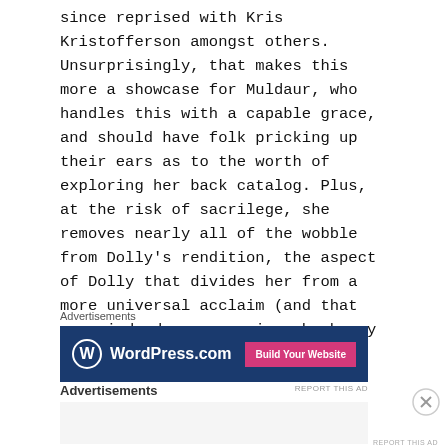since reprised with Kris Kristofferson amongst others. Unsurprisingly, that makes this more a showcase for Muldaur, who handles this with a capable grace, and should have folk pricking up their ears as to the worth of exploring her back catalog. Plus, at the risk of sacrilege, she removes nearly all of the wobble from Dolly's rendition, the aspect of Dolly that divides her from a more universal acclaim (and that can, indeed, on occasion, be heavy going.)
[Figure (other): WordPress.com advertisement banner with dark blue background, WordPress logo and 'Build Your Website' pink button]
REPORT THIS AD
[Figure (other): Second advertisements section placeholder with grey background]
REPORT THIS AD